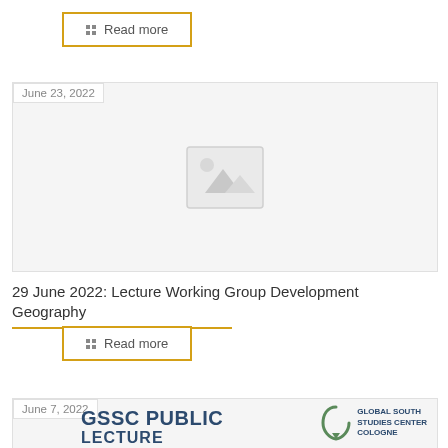Read more
[Figure (photo): Image placeholder with mountain/landscape icon dated June 23, 2022]
29 June 2022: Lecture Working Group Development Geography
Read more
[Figure (photo): Partial card showing GSSC PUBLIC LECTURE text and Global South Studies Center Cologne logo, dated June 7, 2022]